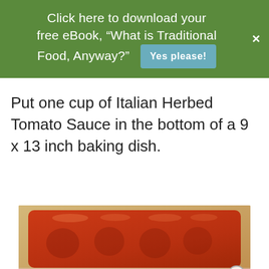Click here to download your free eBook, "What is Traditional Food, Anyway?"  Yes please!
Put one cup of Italian Herbed Tomato Sauce in the bottom of a 9 x 13 inch baking dish.
[Figure (photo): A baking dish with red tomato sauce spread across the bottom, viewed from above. The dish appears to be ceramic or glass with the sauce showing ridges and highlights.]